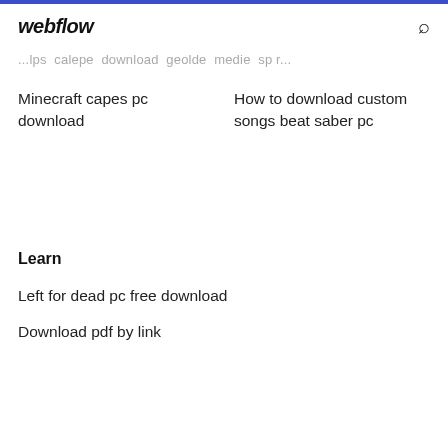webflow
...lps calepe download geolde medie sp r...
Minecraft capes pc download
How to download custom songs beat saber pc
Learn
Left for dead pc free download
Download pdf by link